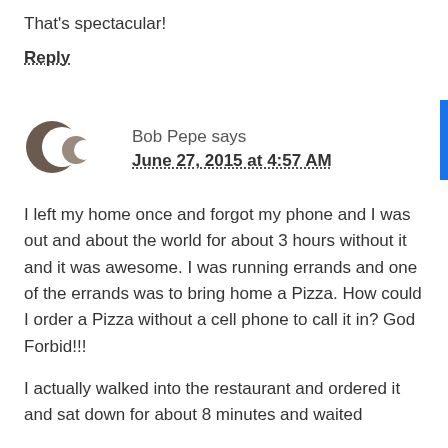That's spectacular!
Reply
Bob Pepe says
June 27, 2015 at 4:57 AM
I left my home once and forgot my phone and I was out and about the world for about 3 hours without it and it was awesome. I was running errands and one of the errands was to bring home a Pizza. How could I order a Pizza without a cell phone to call it in? God Forbid!!!
I actually walked into the restaurant and ordered it and sat down for about 8 minutes and waited